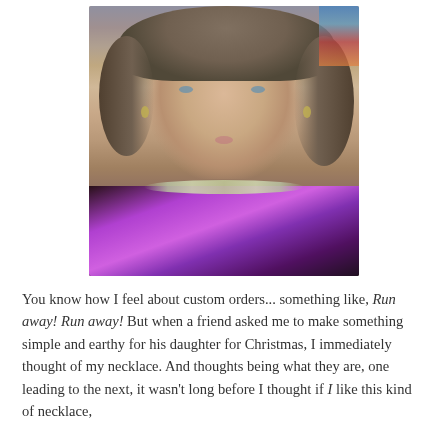[Figure (photo): Portrait photo of a middle-aged woman with curly gray-brown hair, blue eyes, wearing a black top over a purple patterned scarf/blouse and a beaded necklace.]
You know how I feel about custom orders... something like, Run away! Run away! But when a friend asked me to make something simple and earthy for his daughter for Christmas, I immediately thought of my necklace. And thoughts being what they are, one leading to the next, it wasn't long before I thought if I like this kind of necklace,